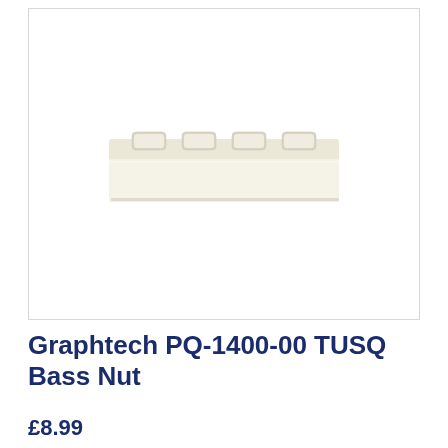[Figure (photo): A Graphtech PQ-1400-00 TUSQ Bass Nut, an off-white/cream colored guitar nut with 4 string slots visible on top, rectangular block shape, photographed on white background.]
Graphtech PQ-1400-00 TUSQ Bass Nut
£8.99